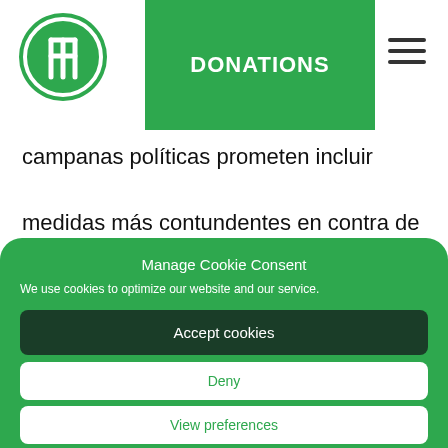[Figure (logo): Circular green logo with stylized person/fork symbol]
DONATIONS
[Figure (other): Hamburger menu icon (three horizontal bars)]
campanas políticas prometen incluir medidas más contundentes en contra de la malversación de fondos, el cohecho, el
Manage Cookie Consent
We use cookies to optimize our website and our service.
Accept cookies
Deny
View preferences